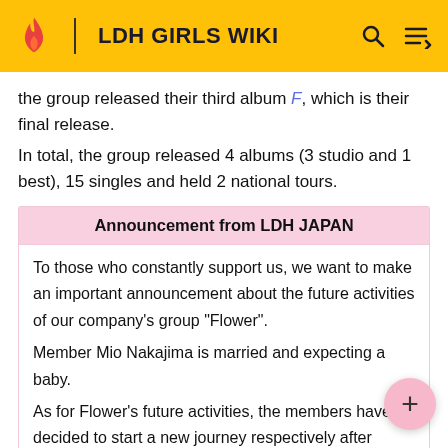LDH GIRLS WIKI
the group released their third album F, which is their final release.
In total, the group released 4 albums (3 studio and 1 best), 15 singles and held 2 national tours.
| Announcement from LDH JAPAN |
| --- |
| To those who constantly support us, we want to make an important announcement about the future activities of our company's group "Flower". |
| Member Mio Nakajima is married and expecting a baby. |
| As for Flower's future activities, the members have decided to start a new journey respectively after discussing several times, so Flower will be disbanded this month. |
| As staff, we truly thank all the Flower members who |